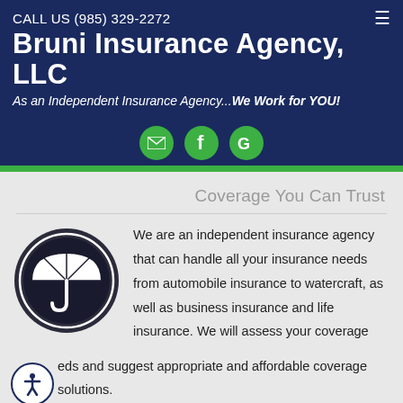CALL US (985) 329-2272
Bruni Insurance Agency, LLC
As an Independent Insurance Agency...We Work for YOU!
[Figure (logo): Social media icons: email (envelope), Facebook (f), Google (G) in green circles]
Coverage You Can Trust
[Figure (illustration): White umbrella icon inside a dark circular badge]
We are an independent insurance agency that can handle all your insurance needs from automobile insurance to watercraft, as well as business insurance and life insurance. We will assess your coverage needs and suggest appropriate and affordable coverage solutions.